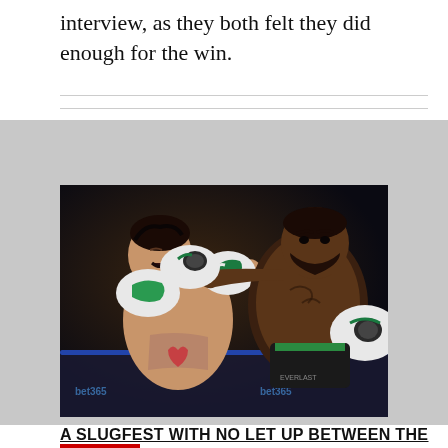interview, as they both felt they did enough for the win.
[Figure (photo): Two boxers exchanging punches in a ring. The fighter on the left wearing white and green trunks is receiving a right hook from the fighter on the right who has a beard and tattoos. Both wear boxing gloves.]
A SLUGFEST WITH NO LET UP BETWEEN THE